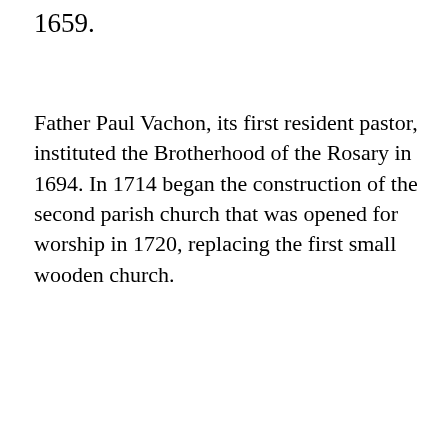1659.
Father Paul Vachon, its first resident pastor, instituted the Brotherhood of the Rosary in 1694. In 1714 began the construction of the second parish church that was opened for worship in 1720, replacing the first small wooden church.
This second church, presently called the Old Shrine,
We use cookies on our website to give you the most relevant experience by remembering your preferences and repeat visits. By clicking “Accept”, you consent to the use of ALL the cookies.
[Figure (logo): Purple stylized plant/leaf logo for a medical testing service]
COVID-19 testing is important
PCR, Antigen, Genomic, Antibody, At-home tests. It can all seem overwhelming for patients AMA
Learn More